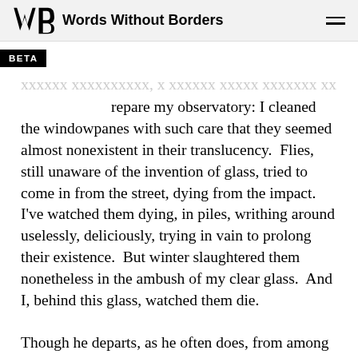Words Without Borders
repare my observatory: I cleaned the windowpanes with such care that they seemed almost nonexistent in their translucency.  Flies, still unaware of the invention of glass, tried to come in from the street, dying from the impact.  I’ve watched them dying, in piles, writhing around uselessly, deliciously, trying in vain to prolong their existence.  But winter slaughtered them nonetheless in the ambush of my clear glass.  And I, behind this glass, watched them die.
Though he departs, as he often does, from among